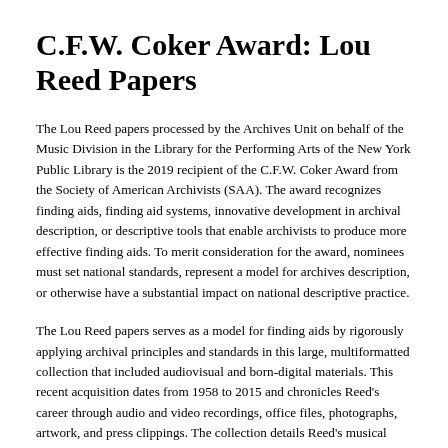C.F.W. Coker Award: Lou Reed Papers
The Lou Reed papers processed by the Archives Unit on behalf of the Music Division in the Library for the Performing Arts of the New York Public Library is the 2019 recipient of the C.F.W. Coker Award from the Society of American Archivists (SAA). The award recognizes finding aids, finding aid systems, innovative development in archival description, or descriptive tools that enable archivists to produce more effective finding aids. To merit consideration for the award, nominees must set national standards, represent a model for archives description, or otherwise have a substantial impact on national descriptive practice.
The Lou Reed papers serves as a model for finding aids by rigorously applying archival principles and standards in this large, multiformatted collection that included audiovisual and born-digital materials. This recent acquisition dates from 1958 to 2015 and chronicles Reed's career through audio and video recordings, office files, photographs, artwork, and press clippings. The collection details Reed's musical output, as well